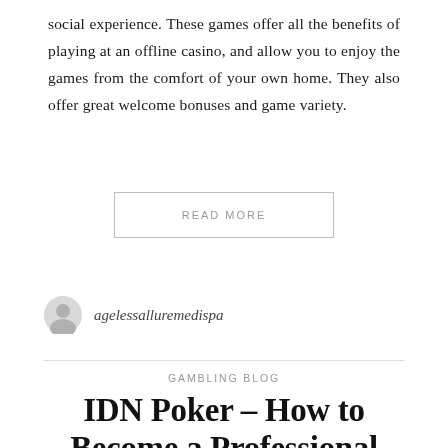social experience. These games offer all the benefits of playing at an offline casino, and allow you to enjoy the games from the comfort of your own home. They also offer great welcome bonuses and game variety.
READ MORE
agelessalluremedispa
GAMBLING BLOG
IDN Poker – How to Become a Professional Poker Player